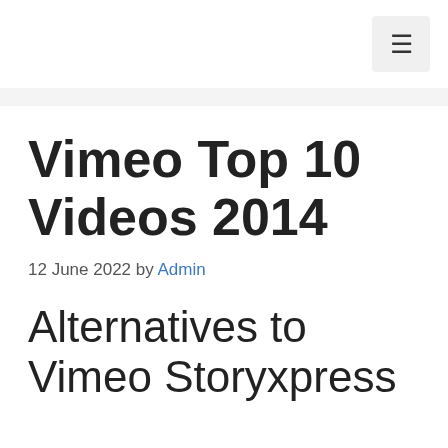☰
Vimeo Top 10 Videos 2014
12 June 2022 by Admin
Alternatives to Vimeo Storyxpress